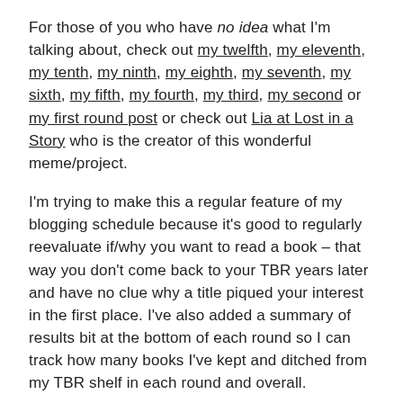For those of you who have no idea what I'm talking about, check out my twelfth, my eleventh, my tenth, my ninth, my eighth, my seventh, my sixth, my fifth, my fourth, my third, my second or my first round post or check out Lia at Lost in a Story who is the creator of this wonderful meme/project.
I'm trying to make this a regular feature of my blogging schedule because it's good to regularly reevaluate if/why you want to read a book – that way you don't come back to your TBR years later and have no clue why a title piqued your interest in the first place. I've also added a summary of results bit at the bottom of each round so I can track how many books I've kept and ditched from my TBR shelf in each round and overall.
Just a reminder of how this works: